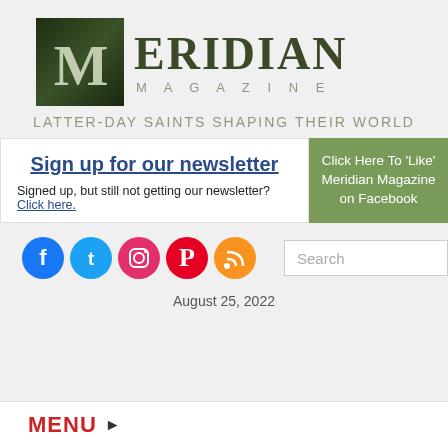[Figure (logo): Meridian Magazine logo with dark green M in a square box and 'MERIDIAN MAGAZINE' text]
LATTER-DAY SAINTS SHAPING THEIR WORLD
Sign up for our newsletter
Signed up, but still not getting our newsletter? Click here.
Click Here To 'Like' Meridian Magazine on Facebook
[Figure (infographic): Social media icons: Facebook, Twitter, Instagram, Pinterest, RSS]
Search
August 25, 2022
MENU ▶